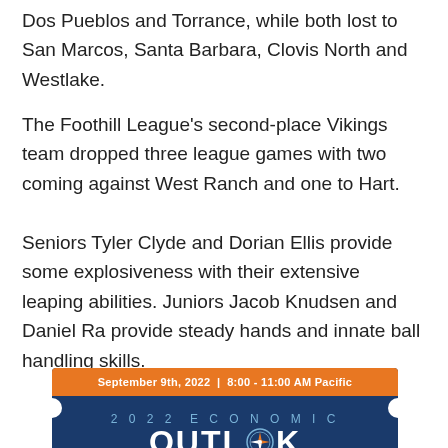Dos Pueblos and Torrance, while both lost to San Marcos, Santa Barbara, Clovis North and Westlake.
The Foothill League’s second-place Vikings team dropped three league games with two coming against West Ranch and one to Hart.
Seniors Tyler Clyde and Dorian Ellis provide some explosiveness with their extensive leaping abilities. Juniors Jacob Knudsen and Daniel Ra provide steady hands and innate ball handling skills.
[Figure (other): Advertisement banner for 2022 Economic Outlook event. Orange header bar reads: September 9th, 2022 | 8:00 - 11:00 AM Pacific. Dark blue body with text: 2022 ECONOMIC OUTLOOK, with a compass logo integrated into the word OUTLOOK. Subtext: Santa Clarita Valley Economic Development Corporation & College of the Canyons.]